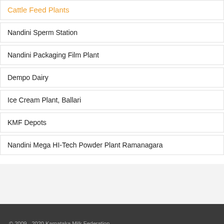Cattle Feed Plants
Nandini Sperm Station
Nandini Packaging Film Plant
Dempo Dairy
Ice Cream Plant, Ballari
KMF Depots
Nandini Mega HI-Tech Powder Plant Ramanagara
© 2009 - 2020 Karnataka Milk Federation.
Login for Member Unions  Privacy Policy  Site Map